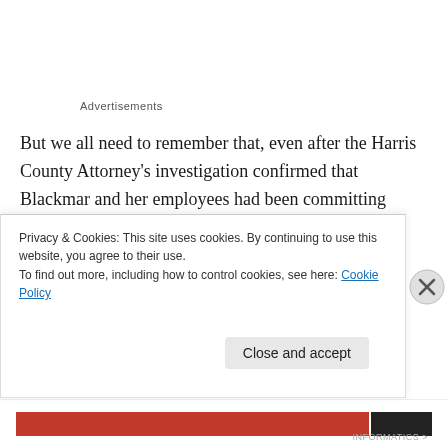Advertisements
But we all need to remember that, even after the Harris County Attorney's investigation confirmed that Blackmar and her employees had been committing absolutely heinous and torturous acts against helpless animals;  and that she and her employees, had been breaking state humane laws for YEARS, the Harris County Commissioners did nothing.   The Commissioners
Privacy & Cookies: This site uses cookies. By continuing to use this website, you agree to their use.
To find out more, including how to control cookies, see here: Cookie Policy
Close and accept